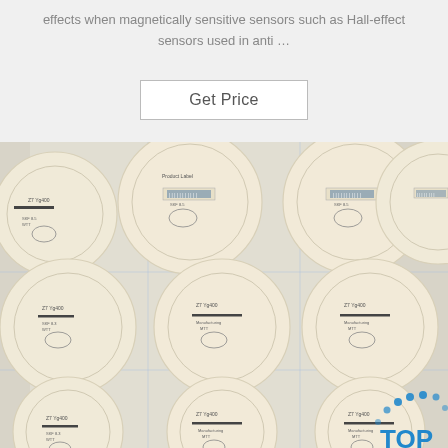effects when magnetically sensitive sensors such as Hall-effect sensors used in anti …
[Figure (other): A 'Get Price' button with border]
[Figure (photo): Photo showing multiple large circular cream/beige colored discs arranged in a grid pattern on a white surface, each disc bearing printed labels and barcodes. A blue 'TOP' logo with dot pattern is visible in the lower right corner.]